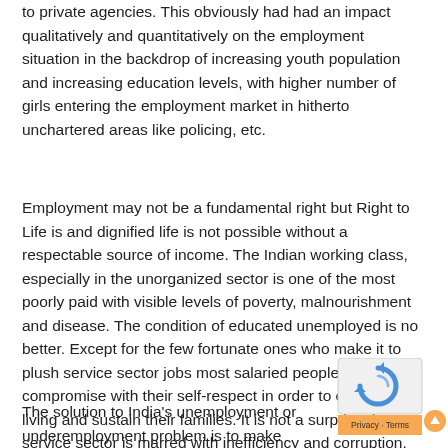to private agencies. This obviously had had an impact qualitatively and quantitatively on the employment situation in the backdrop of increasing youth population and increasing education levels, with higher number of girls entering the employment market in hitherto unchartered areas like policing, etc.
Employment may not be a fundamental right but Right to Life is and dignified life is not possible without a respectable source of income. The Indian working class, especially in the unorganized sector is one of the most poorly paid with visible levels of poverty, malnourishment and disease. The condition of educated unemployed is no better. Except for the few fortunate ones who make it to plush service sector jobs most salaried people have to compromise with their self-respect in order to eke out a living and sustain their families. It is not a surprise that service sector is marred with inefficiency and corruption. Even the process of education has been corrupted.
The solution to India's unemployment or underemployment problem is to make employment a fundamental right. The gap between the poor and rich should be decreased so that we don't
[Figure (other): CAPTCHA widget with reCAPTCHA logo (blue circular arrows) and Privacy/Terms bar in orange, with an orange scroll-to-top button]